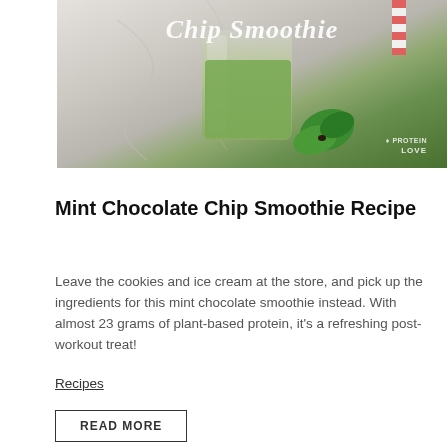[Figure (photo): Photo of a mint chocolate chip smoothie in a blender cup on a marble surface, with fresh mint leaves beside it. Cursive white text overlay reads 'Chip Smoothie'. Logo watermark in bottom right reads 'LOVE'.]
Mint Chocolate Chip Smoothie Recipe
Leave the cookies and ice cream at the store, and pick up the ingredients for this mint chocolate smoothie instead. With almost 23 grams of plant-based protein, it's a refreshing post-workout treat!
Recipes
READ MORE